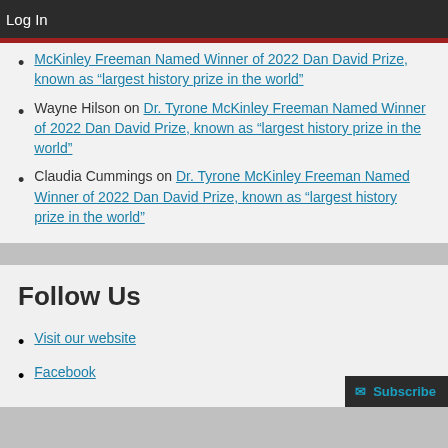Log In
McKinley Freeman Named Winner of 2022 Dan David Prize, known as “largest history prize in the world” (partial/continuation)
Wayne Hilson on Dr. Tyrone McKinley Freeman Named Winner of 2022 Dan David Prize, known as “largest history prize in the world”
Claudia Cummings on Dr. Tyrone McKinley Freeman Named Winner of 2022 Dan David Prize, known as “largest history prize in the world”
Follow Us
Visit our website
Facebook